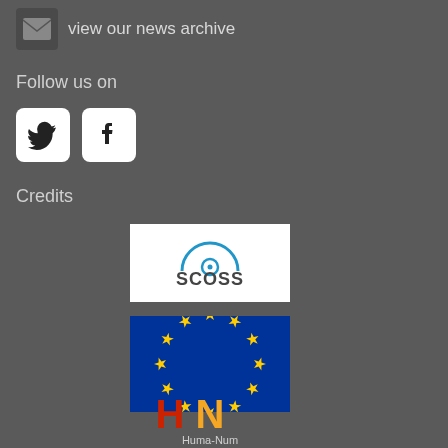view our news archive
Follow us on
[Figure (logo): Twitter (X) social media icon in white rounded square]
[Figure (logo): Facebook social media icon in white rounded square]
Credits
[Figure (logo): SCOSS logo on white background]
[Figure (logo): European Union flag - blue background with circle of yellow stars]
[Figure (logo): Huma-Num logo with red and orange HN letters and text below]